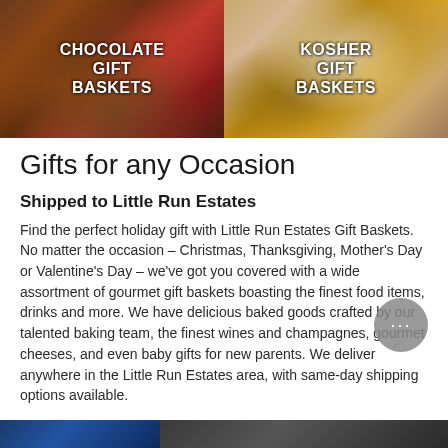[Figure (photo): Two side-by-side promotional images. Left: chocolate gift baskets with chocolate bars, candy canes, and holiday decorations. Right: kosher gift baskets with a silver goblet and round cracker/matzah items on burlap.]
Gifts for any Occasion
Shipped to Little Run Estates
Find the perfect holiday gift with Little Run Estates Gift Baskets. No matter the occasion – Christmas, Thanksgiving, Mother's Day or Valentine's Day – we've got you covered with a wide assortment of gourmet gift baskets boasting the finest food items, drinks and more. We have delicious baked goods crafted by our talented baking team, the finest wines and champagnes, gourmet cheeses, and even baby gifts for new parents. We deliver anywhere in the Little Run Estates area, with same-day shipping options available.
[Figure (photo): Bottom strip showing two partial images: left shows blue bokeh/sparkle background, right shows a dark/dim scene.]